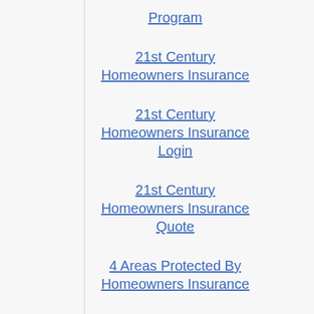Program
21st Century Homeowners Insurance
21st Century Homeowners Insurance Login
21st Century Homeowners Insurance Quote
4 Areas Protected By Homeowners Insurance
A portion, such as 1% or 2% of the home's insured worth (Homeowners Insurance In Wv). When you receive